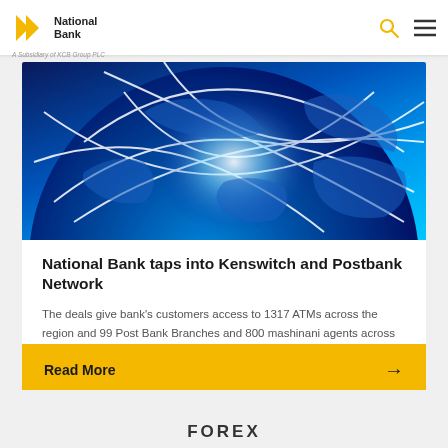National Bank — A Subsidiary of KCB Group PLC
[Figure (illustration): Blue glowing globe with white network connection lines across continents, on a dark blue background — partial crop showing top/center portion of globe]
National Bank taps into Kenswitch and Postbank Network
The deals give bank's customers access to 1317 ATMs across the region and 99 Post Bank Branches and 800 mashinani agents across the country.
Read More →
FOREX